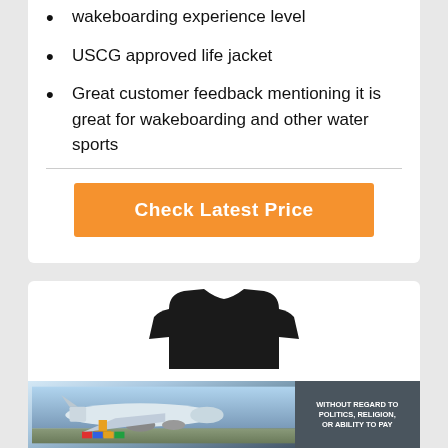wakeboarding experience level
USCG approved life jacket
Great customer feedback mentioning it is great for wakeboarding and other water sports
Check Latest Price
[Figure (photo): Advertisement banner showing an airplane being loaded with cargo, with text 'WITHOUT REGARD TO POLITICS, RELIGION, OR ABILITY TO PAY']